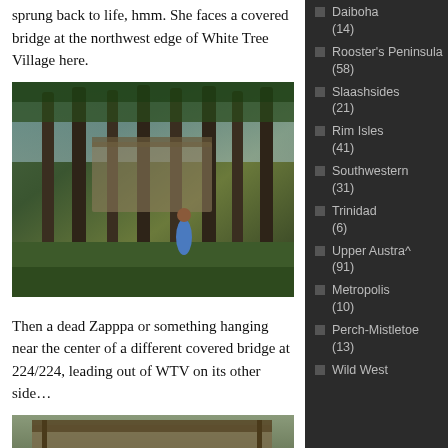sprung back to life, hmm. She faces a covered bridge at the northwest edge of White Tree Village here.
[Figure (photo): A figure of a person standing among tall trees in a virtual world scene, with a covered bridge visible in the background through the trees.]
Then a dead Zapppa or something hanging near the center of a different covered bridge at 224/224, leading out of WTV on its other side…
[Figure (photo): A second scene showing a covered bridge in a virtual world, viewed from outside.]
Daiboha (14)
Rooster's Peninsula (58)
Slaashsides (21)
Rim Isles (41)
Southwestern (31)
Trinidad (6)
Upper Austra^ (91)
Metropolis (10)
Perch-Mistletoe (13)
Wild West